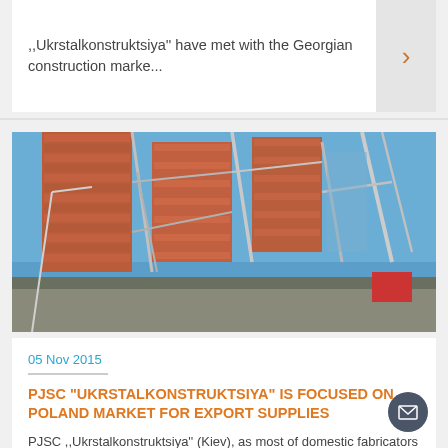,,Ukrstalkonstruktsiya'' have met with the Georgian construction marke...
[Figure (photo): Industrial steel construction structure with red/orange panels and metal scaffolding against a blue sky]
05 Nov 2015
PJSC "UKRSTALKONSTRUKTSIYA" IS FOCUSED ON POLAND MARKET FOR EXPORT SUPPLIES
PJSC ,,Ukrstalkonstruktsiya'' (Kiev), as most of domestic fabricators of steel, which orientate on Europe for ex...